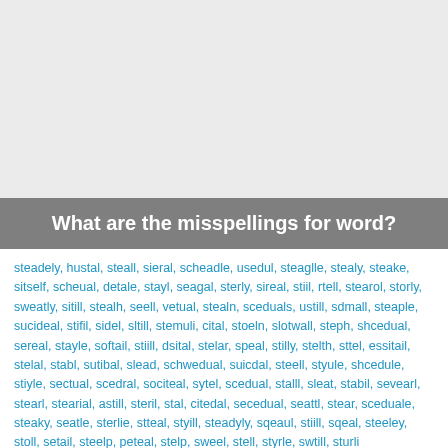[Figure (other): Gray background area at top of page]
What are the misspellings for word?
steadely, hustal, steall, sieral, scheadle, usedul, steaglle, stealy, steake, sitself, scheual, detale, stayl, seagal, sterly, sireal, stiil, rtell, stearol, storly, sweatly, sitill, stealh, seell, vetual, stealn, sceduals, ustill, sdmall, steaple, sucideal, stifil, sidel, sltill, stemuli, cital, stoeln, slotwall, steph, shcedual, sereal, stayle, softail, stiill, dsital, stelar, speal, stilly, stelth, sttel, essitail, stelal, stabl, sutibal, slead, schwedual, suicdal, steell, styule, shcedule, stiyle, sectual, scedral, sociteal, sytel, scedual, stalll, sleat, stabil, sevearl, stearl, stearial, astill, steril, stal, citedal, secedual, seattl, stear, sceduale, steaky, seatle, sterlie, stteal, styill, steadyly, sqeaul, stiill, sqeal, steeley, stoll, setail, steelp, peteal, stelp, sweel, stell, styrle, swtill, sturli